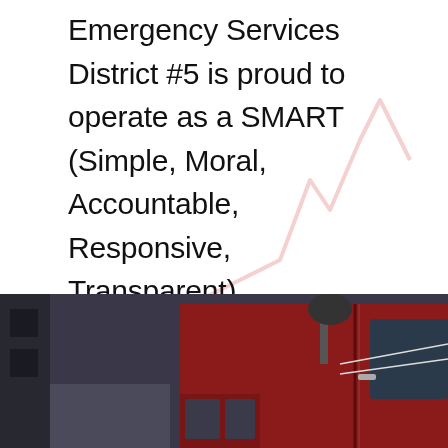Emergency Services District #5 is proud to operate as a SMART (Simple, Moral, Accountable, Responsive, Transparent) government that accomplishes all our services by using a minimum of your tax dollars.
CONTINUE READING
[Figure (photo): Close-up photograph of a red fire truck cab, showing mirrors, door, and cab details against a wintry outdoor background.]